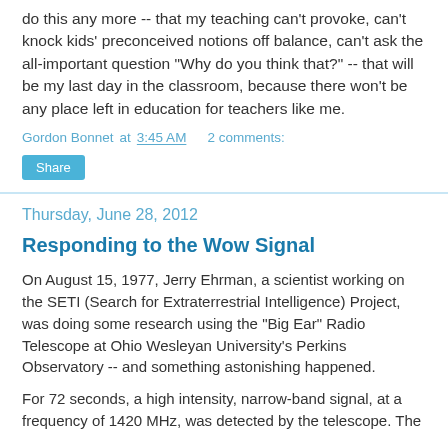do this any more -- that my teaching can't provoke, can't knock kids' preconceived notions off balance, can't ask the all-important question "Why do you think that?" -- that will be my last day in the classroom, because there won't be any place left in education for teachers like me.
Gordon Bonnet at 3:45 AM   2 comments:
Share
Thursday, June 28, 2012
Responding to the Wow Signal
On August 15, 1977, Jerry Ehrman, a scientist working on the SETI (Search for Extraterrestrial Intelligence) Project, was doing some research using the "Big Ear" Radio Telescope at Ohio Wesleyan University's Perkins Observatory -- and something astonishing happened.
For 72 seconds, a high intensity, narrow-band signal, at a frequency of 1420 MHz, was detected by the telescope. The